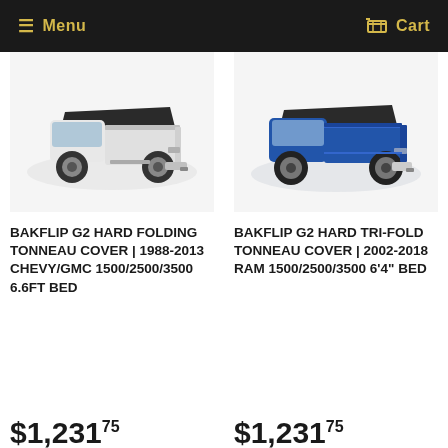Menu | Cart
[Figure (photo): White GMC pickup truck with black hard folding tonneau cover on truck bed, rear three-quarter view]
BAKFLIP G2 HARD FOLDING TONNEAU COVER | 1988-2013 CHEVY/GMC 1500/2500/3500 6.6ft BED
$1,231.75
[Figure (photo): Blue RAM pickup truck with black hard tri-fold tonneau cover on truck bed, rear three-quarter view]
BAKFLIP G2 HARD TRI-FOLD TONNEAU COVER | 2002-2018 RAM 1500/2500/3500 6'4" BED
$1,231.75